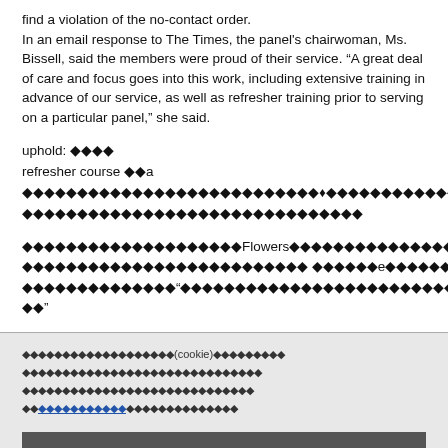find a violation of the no-contact order.
In an email response to The Times, the panel's chairwoman, Ms. Bissell, said the members were proud of their service. “A great deal of care and focus goes into this work, including extensive training in advance of our service, as well as refresher training prior to serving on a particular panel,” she said.
uphold: ◆◆◆◆
refresher course ◆◆a ◆◆◆◆◆◆◆◆◆◆◆◆◆◆◆◆◆◆◆◆◆◆◆◆◆◆◆♦◆◆◆◆◆◆◆◆◆◆◆◆◆◆◆◆◆◆◆
◆◆◆◆◆◆◆◆◆◆◆◆◆◆◆◆◆◆◆◆◆◆◆◆◆◆◆◆◆◆◆
◆◆◆◆◆◆◆◆◆◆◆◆◆◆◆◆◆◆◆◆Flowers◆◆◆◆◆◆◆◆◆◆◆◆◆◆◆◆◆◆◆◆◆◆◆
◆◆◆◆◆◆◆◆◆◆◆◆◆◆◆◆◆◆◆◆◆◆◆◆◆◆ ◆◆◆◆◆◆e◆◆◆◆◆◆◆◆Bissell◆◆
◆◆◆◆◆◆◆◆◆◆◆◆◆◆“◆◆◆◆◆◆◆◆◆◆◆◆◆◆◆◆◆◆◆◆◆◆◆◆◆◆◆◆◆◆◆◆◆◆◆◆◆◆◆
◆◆”
◆◆◆◆◆◆◆◆◆◆◆◆◆◆◆◆◆◆◆(cookie)◆◆◆◆◆◆◆◆◆
◆◆◆◆◆◆◆◆◆◆◆◆◆◆◆◆◆◆◆◆◆◆◆◆◆◆◆◆◆◆
◆◆◆◆◆◆◆◆◆◆◆◆◆◆◆◆◆◆◆◆◆◆◆◆◆◆◆◆◆
◆◆◆◆◆◆◆◆◆◆◆◆◆◆◆◆◆◆◆◆◆◆◆◆◆